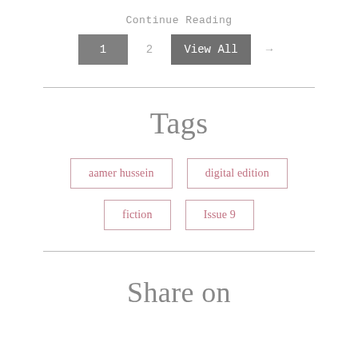Continue Reading
1   2   View All   →
Tags
aamer hussein
digital edition
fiction
Issue 9
Share on